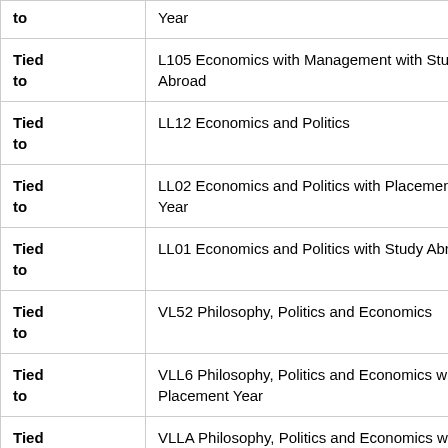| Tied to | Year |
| Tied to | L105 Economics with Management with Study Abroad |
| Tied to | LL12 Economics and Politics |
| Tied to | LL02 Economics and Politics with Placement Year |
| Tied to | LL01 Economics and Politics with Study Abroad |
| Tied to | VL52 Philosophy, Politics and Economics |
| Tied to | VLL6 Philosophy, Politics and Economics with Placement Year |
| Tied to | VLLA Philosophy, Politics and Economics with Study Abroad |
| Tied to | CFG0 Natural Sciences |